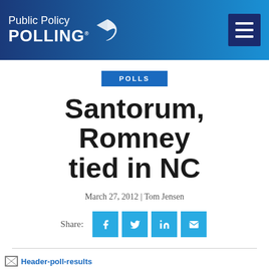Public Policy POLLING
POLLS
Santorum, Romney tied in NC
March 27, 2012 | Tom Jensen
Share:
[Figure (other): Broken image placeholder labeled Header-poll-results]